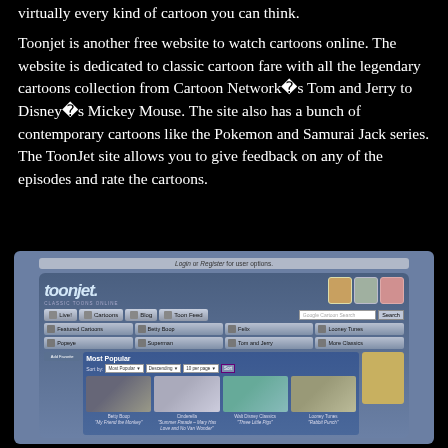virtually every kind of cartoon you can think.
Toonjet is another free website to watch cartoons online. The website is dedicated to classic cartoon fare with all the legendary cartoons collection from Cartoon Network�s Tom and Jerry to Disney�s Mickey Mouse. The site also has a bunch of contemporary cartoons like the Pokemon and Samurai Jack series. The ToonJet site allows you to give feedback on any of the episodes and rate the cartoons.
[Figure (screenshot): Screenshot of the ToonJet website showing the logo, navigation tabs (Live!, Cartoons, Blog, Toon Feed), sub-navigation with Featured Cartoons, Betty Boop, Felix, Looney Tunes, Popeye, Superman, Tom and Jerry, More Classics, a 'Most Popular' section with sort controls and thumbnail images of Betty Boop 'My Friend the Monkey', Cinderella 'Summer Parade – Mary Has Love and No Van Wonder', Walt Disney Classics 'Three Little Pigs', Looney Tunes 'Rabbit Punch'.]